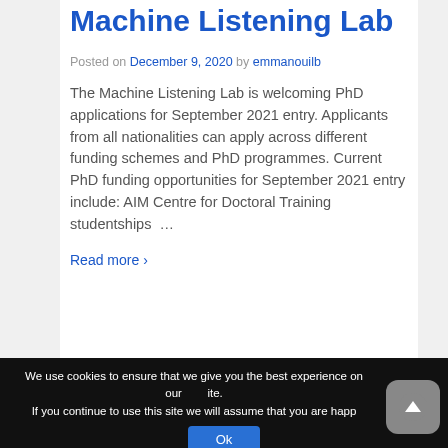Machine Listening Lab
Posted on December 9, 2020 by emmanouilb
The Machine Listening Lab is welcoming PhD applications for September 2021 entry. Applicants from all nationalities can apply across different funding schemes and PhD programmes. Current PhD funding opportunities for September 2021 entry include: AIM Centre for Doctoral Training studentships …
Read more ›
We use cookies to ensure that we give you the best experience on our site. If you continue to use this site we will assume that you are happy.